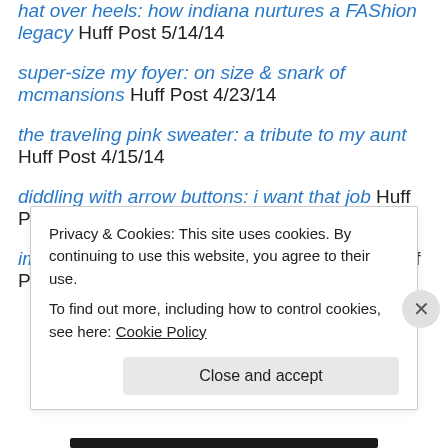hat over heels: how indiana nurtures a FAShion legacy Huff Post 5/14/14
super-size my foyer: on size & snark of mcmansions Huff Post 4/23/14
the traveling pink sweater: a tribute to my aunt Huff Post 4/15/14
diddling with arrow buttons: i want that job Huff Post 3/15/14
ima fashion arts societv's red carpet review Huff Post
Privacy & Cookies: This site uses cookies. By continuing to use this website, you agree to their use. To find out more, including how to control cookies, see here: Cookie Policy
Close and accept